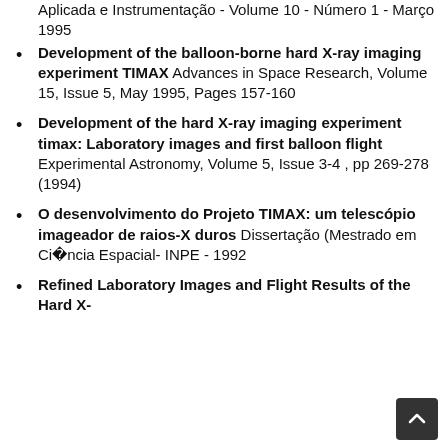Aplicada e Instrumentação - Volume 10 - Número 1 - Março 1995
Development of the balloon-borne hard X-ray imaging experiment TIMAX Advances in Space Research, Volume 15, Issue 5, May 1995, Pages 157-160
Development of the hard X-ray imaging experiment timax: Laboratory images and first balloon flight Experimental Astronomy, Volume 5, Issue 3-4 , pp 269-278 (1994)
O desenvolvimento do Projeto TIMAX: um telescópio imageador de raios-X duros Dissertação (Mestrado em Ciência Espacial- INPE - 1992
Refined Laboratory Images and Flight Results of the Hard X-